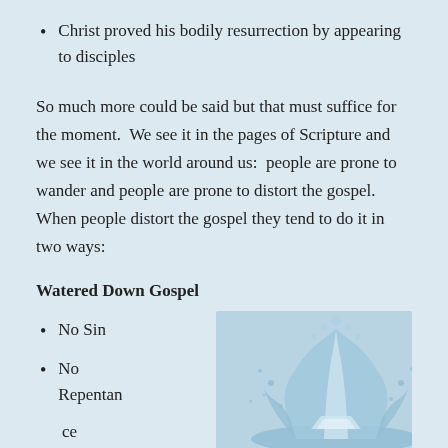Christ proved his bodily resurrection by appearing to disciples
So much more could be said but that must suffice for the moment.  We see it in the pages of Scripture and we see it in the world around us:  people are prone to wander and people are prone to distort the gospel.  When people distort the gospel they tend to do it in two ways:
Watered Down Gospel
No Sin
No Repentan ce
[Figure (photo): A water splash/droplet photo showing water splashing upward with droplets scattered around, on a light blue background.]